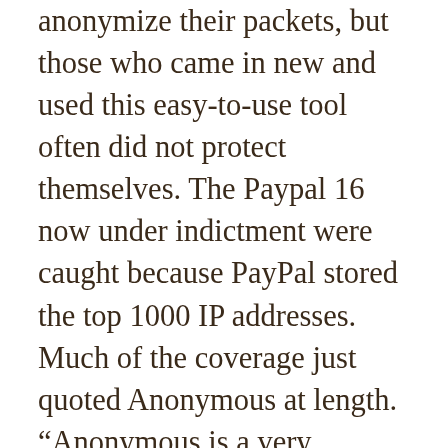anonymize their packets, but those who came in new and used this easy-to-use tool often did not protect themselves. The Paypal 16 now under indictment were caught because PayPal stored the top 1000 IP addresses. Much of the coverage just quoted Anonymous at length. “Anonymous is a very horizontal org and there’s no press person to talk to,” but, Molly says, there was a “press IRC channel” but the media didn’t know how to use it. Some mainstream articles linked to download sites for LOIC, which may have encouraged people to download it without understanding the implications.